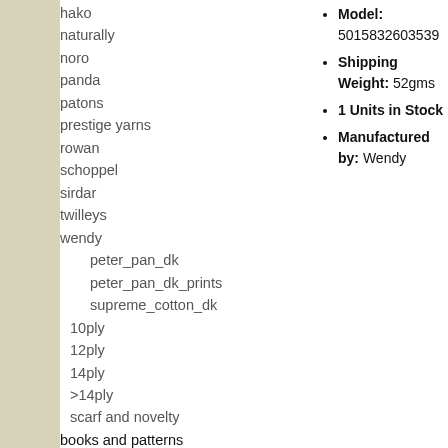hako
naturally
noro
panda
patons
prestige yarns
rowan
schoppel
sirdar
twilleys
wendy
peter_pan_dk
peter_pan_dk_prints
supreme_cotton_dk
10ply
12ply
14ply
>14ply
scarf and novelty
books and patterns
hooks and needles
needlecraft
threads
kits
creative kids 2022
accessories
Model: 5015832603539
Shipping Weight: 52gms
1 Units in Stock
Manufactured by: Wendy